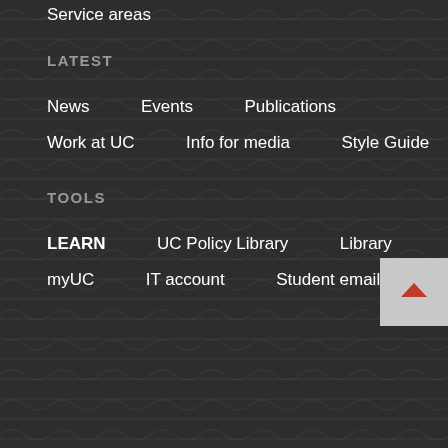Service areas
LATEST
News
Events
Publications
Work at UC
Info for media
Style Guide
TOOLS
LEARN
UC Policy Library
Library
myUC
IT account
Student email